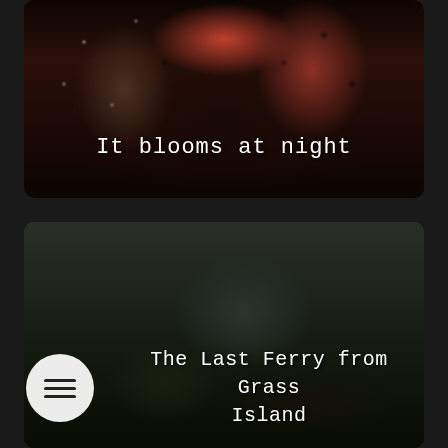[Figure (photo): Two women dancing or celebrating at a party, wearing polka dot outfits. One wears a black/white patterned garment with a red necklace, the other wears a red/black polka dot dress. Dark background.]
It blooms at night
[Figure (photo): Two people in a dark, low-light interior scene. One person is in the foreground looking up, another stands behind. Moody, dark green/teal toned photograph. A circular menu/hamburger icon button is visible in the lower left.]
The Last Ferry from Grass Island